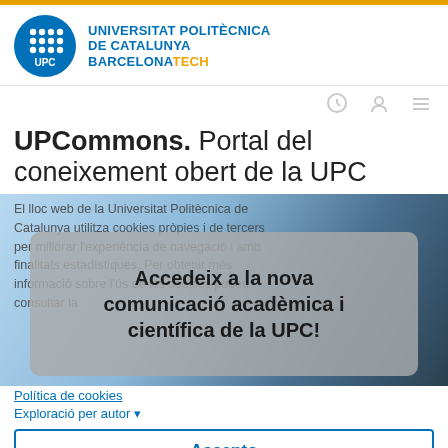[Figure (logo): UPC Universitat Politècnica de Catalunya BarcelonaTech logo with blue circle and grid of dots]
UNIVERSITAT POLITÈCNICA DE CATALUNYA BARCELONATECH
UPCommons. Portal del coneixement obert de la UPC
El lloc web de la Universitat Politècnica de Catalunya utilitza cookies pròpies i de tercers per millorar l'experiència de navegació i amb finalitats estadístiques. Per obtenir més informació sobre l'ús de les cookies podeu consultar la
[Figure (photo): Background image of antenna/tower structure with blue sky, overlaid with gray semi-transparent rounded box containing text]
Accedeix a la nova comunicació acadèmica i científica de la UPC!
Política de cookies
Exploració per autor ▾
Accepto
Exploració per autor "Juan, Angel A."
0-9
O introduïu-ne les primeres ll
Vés a